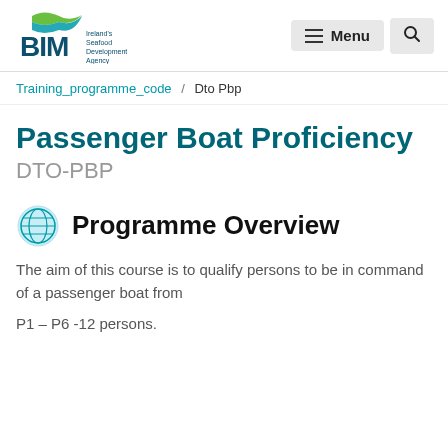BIM Ireland's Seafood Development Agency — Menu / Search
Training_programme_code / Dto Pbp
Passenger Boat Proficiency
DTO-PBP
Programme Overview
The aim of this course is to qualify persons to be in command of a passenger boat from
P1 – P6 -12 persons.